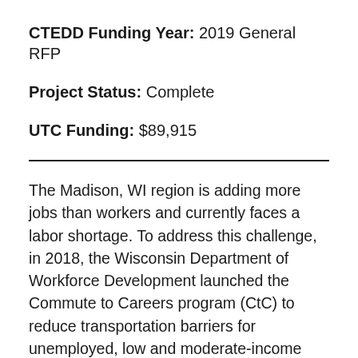CTEDD Funding Year: 2019 General RFP
Project Status: Complete
UTC Funding: $89,915
The Madison, WI region is adding more jobs than workers and currently faces a labor shortage. To address this challenge, in 2018, the Wisconsin Department of Workforce Development launched the Commute to Careers program (CtC) to reduce transportation barriers for unemployed, low and moderate-income workers.